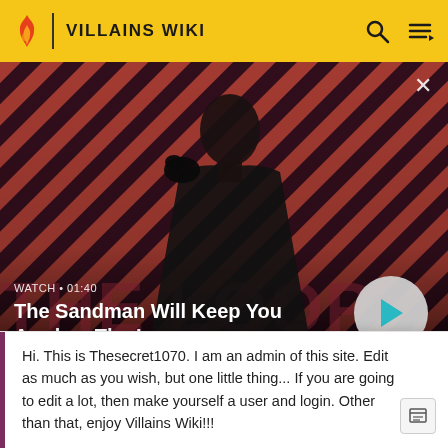VILLAINS WIKI
[Figure (screenshot): Video banner for 'The Sandman Will Keep You Awake - The Loop' showing a dark-clad figure with a raven on a striped red/dark background, with a play button and WATCH 01:40 label]
one bad egg.
Biarnson the Cheesenonger: A cheese chef Munn...
Hi. This is Thesecret1070. I am an admin of this site. Edit as much as you wish, but one little thing... If you are going to edit a lot, then make yourself a user and login. Other than that, enjoy Villains Wiki!!!